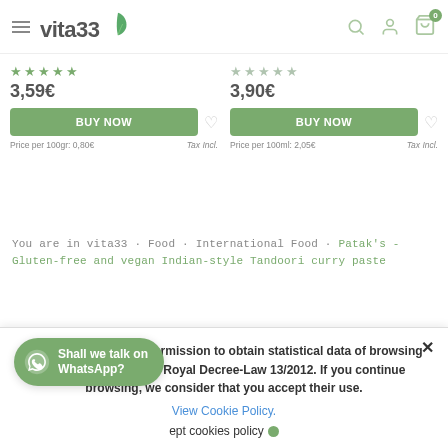vita33 — navigation header with hamburger menu, search, account, and cart icons
★★★★★ 3,59€ BUY NOW ♡ Price per 100gr: 0,80€ Tax Incl.
★★★★★ 3,90€ BUY NOW ♡ Price per 100ml: 2,05€ Tax Incl.
You are in vita33 · Food · International Food · Patak's - Gluten-free and vegan Indian-style Tandoori curry paste
Vita33 requests your permission to obtain statistical data of browsing the web, pursuant to Royal Decree-Law 13/2012. If you continue browsing, we consider that you accept their use. View Cookie Policy. ept cookies policy
Shall we talk on WhatsApp?